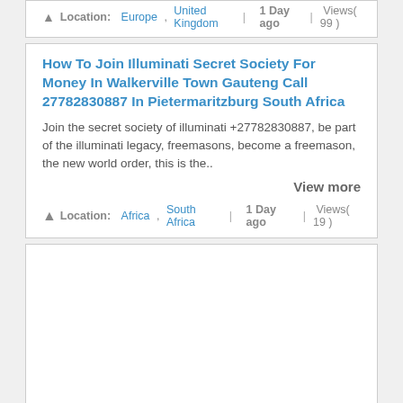Location: Europe , United Kingdom | 1 Day ago | Views( 99 )
How To Join Illuminati Secret Society For Money In Walkerville Town Gauteng Call 27782830887 In Pietermaritzburg South Africa
Join the secret society of illuminati +27782830887, be part of the illuminati legacy, freemasons, become a freemason, the new world order, this is the..
View more
Location: Africa , South Africa | 1 Day ago | Views( 19 )
[Figure (other): Advertisement placeholder box (empty white box with border)]
How To Win Lotto Powerball Casino Money Magically In Pietermaritzburg South Africa Call 27782830887 In Dubai